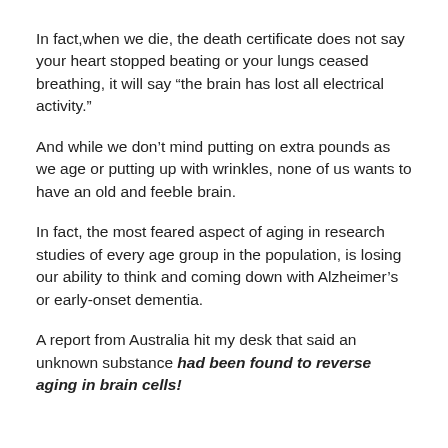In fact,when we die, the death certificate does not say your heart stopped beating or your lungs ceased breathing, it will say “the brain has lost all electrical activity.”
And while we don’t mind putting on extra pounds as we age or putting up with wrinkles, none of us wants to have an old and feeble brain.
In fact, the most feared aspect of aging in research studies of every age group in the population, is losing our ability to think and coming down with Alzheimer’s or early-onset dementia.
A report from Australia hit my desk that said an unknown substance had been found to reverse aging in brain cells!